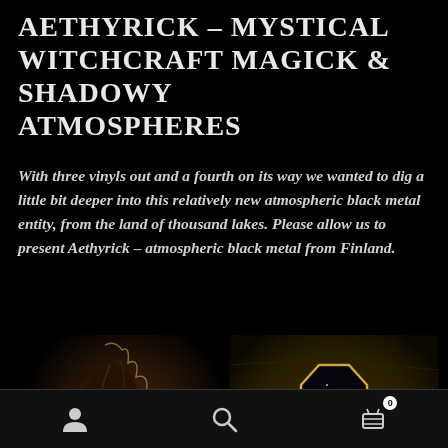Aethyrick – Mystical Witchcraft Magick & Shadowy Atmospheres
With three vinyls out and a fourth on its way we wanted to dig a little bit deeper into this relatively new atmospheric black metal entity, from the land of thousand lakes. Please allow us to present Aethyrick – atmospheric black metal from Finland.
[Figure (photo): Dark atmospheric black metal album artwork showing a spectral demonic figure with smoke and tendrils against a dark background]
[Figure (photo): Dark atmospheric black metal album artwork showing a coffin-shaped object with starry dark blue interior and golden glowing border against a dark golden textured background]